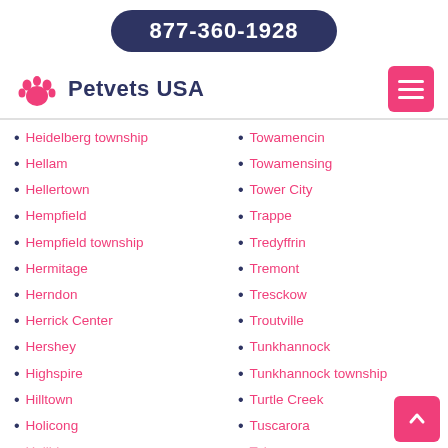877-360-1928
[Figure (logo): Petvets USA logo with pink paw print icon and dark blue text]
Heidelberg township
Hellam
Hellertown
Hempfield
Hempfield township
Hermitage
Herndon
Herrick Center
Hershey
Highspire
Hilltown
Holicong
Towamencin
Towamensing
Tower City
Trappe
Tredyffrin
Tremont
Tresckow
Troutville
Tunkhannock
Tunkhannock township
Turtle Creek
Tuscarora